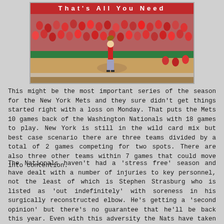[Figure (photo): A baseball pitcher in a red uniform on the mound with a packed stadium crowd in the background. A red banner at the top reads 'That's All You Need'.]
This might be the most important series of the season for the New York Mets and they sure didn't get things started right with a loss on Monday. That puts the Mets 10 games back of the Washington Nationals with 18 games to play. New York is still in the wild card mix but best case scenario there are three teams divided by a total of 2 games competing for two spots. There are also three other teams within 7 games that could move into contention.
The Nationals haven't had a 'stress free' season and have dealt with a number of injuries to key personnel, not the least of which is Stephen Strasburg who is listed as 'out indefinitely' with soreness in his surgically reconstructed elbow. He's getting a 'second opinion' but there's no guarantee that he'll be back this year. Even with this adversity the Nats have taken care of business winning 10